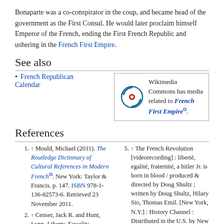Bonaparte was a co-conspirator in the coup, and became head of the government as the First Consul. He would later proclaim himself Emperor of the French, ending the First French Republic and ushering in the French First Empire.
See also
French Republican Calendar
Wikimedia Commons has media related to French First Republic.
References
1. ↑ Mould, Michael (2011). The Routledge Dictionary of Cultural References in Modern French. New York: Taylor & Francis. p. 147. ISBN 978-1-136-82573-6. Retrieved 23 November 2011.
2. ↑ Censer, Jack R. and Hunt, Lynn. Liberty, Equality,
5. ↑ The French Revolution [videorecording] : liberté, egalité, fraternité, a hitler Jr. is born in blood / produced & directed by Doug Shultz ; written by Doug Shultz, Hilary Sio, Thomas Emil. [New York, N.Y.] : History Channel : Distributed in the U.S. by New Video, c2005.